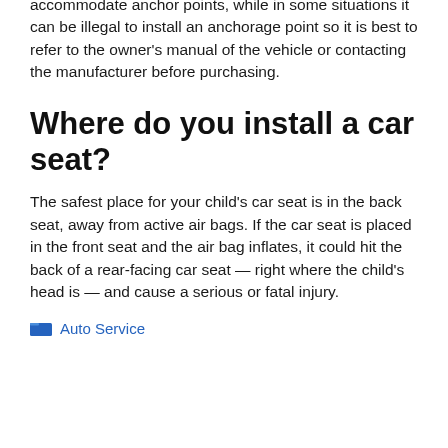Some vehicles will require modifications to accommodate anchor points, while in some situations it can be illegal to install an anchorage point so it is best to refer to the owner's manual of the vehicle or contacting the manufacturer before purchasing.
Where do you install a car seat?
The safest place for your child's car seat is in the back seat, away from active air bags. If the car seat is placed in the front seat and the air bag inflates, it could hit the back of a rear-facing car seat — right where the child's head is — and cause a serious or fatal injury.
Auto Service